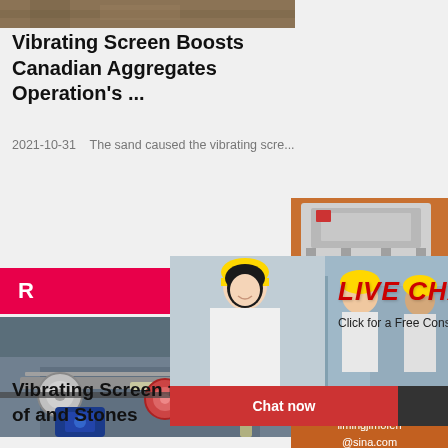[Figure (photo): Top image showing outdoor scene, partially visible]
Vibrating Screen Boosts Canadian Aggregates Operation's ...
2021-10-31   The sand caused the vibrating scre...
[Figure (photo): Red bar with letter R on the left]
[Figure (screenshot): Live Chat popup overlay showing construction workers and woman in white, with LIVE CHAT text in red italic, 'Click for a Free Consultation', Chat now and Chat later buttons]
[Figure (photo): Vibrating screen machinery photo, industrial equipment]
Vibrating Screen for All Kinds of and Stones
[Figure (photo): Right sidebar orange panel with industrial machine images, Enjoy 3% discount, Click to Chat, Enquiry section, limingjlmofen@sina.com]